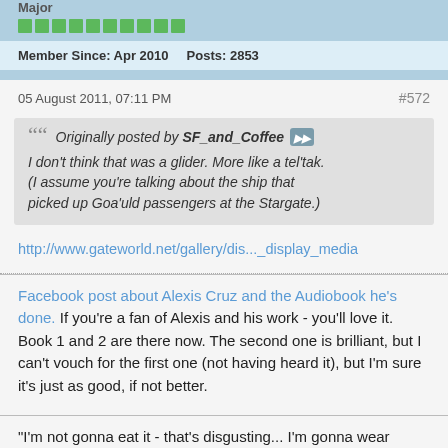Major
[Figure (infographic): Green reputation bars (10 green squares in a row)]
Member Since: Apr 2010    Posts: 2853
05 August 2011, 07:11 PM
#572
Originally posted by SF_and_Coffee
I don't think that was a glider. More like a tel'tak. (I assume you're talking about the ship that picked up Goa'uld passengers at the Stargate.)
http://www.gateworld.net/gallery/dis..._display_media
Facebook post about Alexis Cruz and the Audiobook he's done. If you're a fan of Alexis and his work - you'll love it. Book 1 and 2 are there now. The second one is brilliant, but I can't vouch for the first one (not having heard it), but I'm sure it's just as good, if not better.
"I'm not gonna eat it - that's disgusting... I'm gonna wear